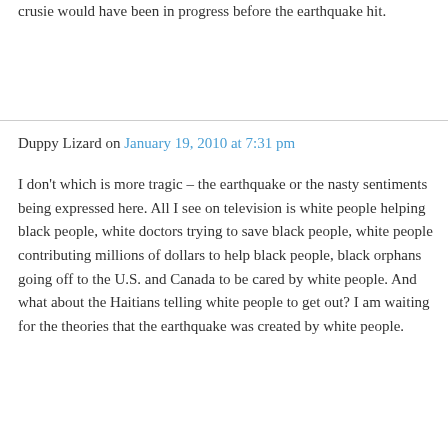crusie would have been in progress before the earthquake hit.
Duppy Lizard on January 19, 2010 at 7:31 pm
I don't which is more tragic – the earthquake or the nasty sentiments being expressed here. All I see on television is white people helping black people, white doctors trying to save black people, white people contributing millions of dollars to help black people, black orphans going off to the U.S. and Canada to be cared by white people. And what about the Haitians telling white people to get out? I am waiting for the theories that the earthquake was created by white people.